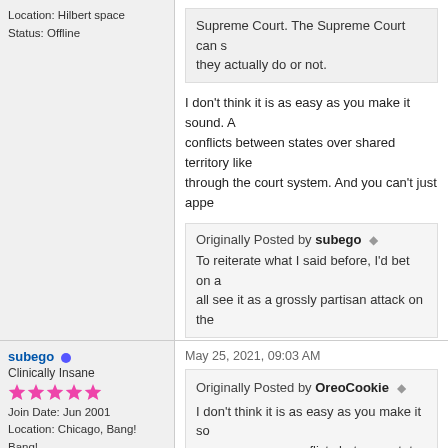Location: Hilbert space
Status: Offline
Supreme Court. The Supreme Court can s they actually do or not.
I don't think it is as easy as you make it sound. A conflicts between states over shared territory like through the court system. And you can't just appe
Originally Posted by subego
To reiterate what I said before, I'd bet on a all see it as a grossly partisan attack on the
Against what? Against adding seats to the Supre And even if they hated the idea, does that give th
subego
Clinically Insane
Join Date: Jun 2001
Location: Chicago, Bang! Bang!
Status: Offline
May 25, 2021, 09:03 AM
Originally Posted by OreoCookie
I don't think it is as easy as you make it so memory serves conflicts between states ov have to make your way through the court s reaches the Supreme Court.